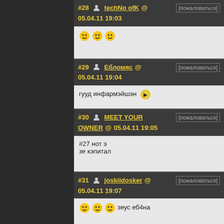#28 techNo ofK @ 05.04.11 19:03 [пожаловаться] [emoji x3]
#29 Ебломяс @ 05.04.11 19:04 [пожаловаться] гууд инфармэйшэн
#30 MEET YOUR OWNER @ 05.04.11 19:05 [пожаловаться] #27 нот э зе кэпитал
#31 joskiidosker @ 05.04.11 19:07 [пожаловаться] [emoji x3] зеус еб4на
#33 Интелегент @ 05.04.11 19:11 [пожаловаться] p@shel nahooy eblan
#34 d4n @ 05.04.11 19:11 [пожаловаться]